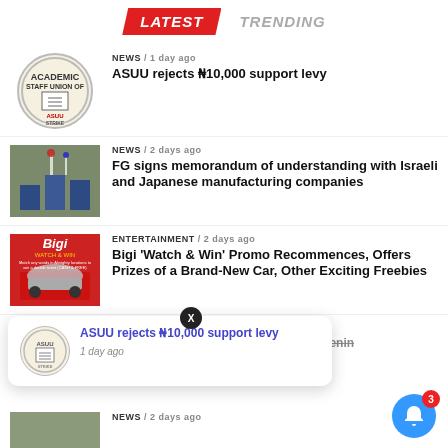LATEST  TRENDING
[Figure (photo): ASUU STRIKE circular logo thumbnail]
NEWS / 1 day ago
ASUU rejects N10,000 support levy
[Figure (photo): Officials signing MOU at a table with flags]
NEWS / 2 days ago
FG signs memorandum of understanding with Israeli and Japanese manufacturing companies
[Figure (photo): Bigi Watch and Win promo advertisement with car]
ENTERTAINMENT / 2 days ago
Bigi 'Watch & Win' Promo Recommences, Offers Prizes of a Brand-New Car, Other Exciting Freebies
[Figure (photo): Germany news article thumbnail]
NEWS / 2 days ago
Germany signs deal to return stolen Benin
[Figure (screenshot): Notification popup: ASUU rejects N10,000 support levy - 1 day ago]
NEWS / 2 days ago